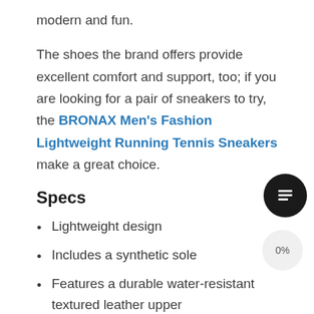modern and fun.
The shoes the brand offers provide excellent comfort and support, too; if you are looking for a pair of sneakers to try, the BRONAX Men's Fashion Lightweight Running Tennis Sneakers make a great choice.
Specs
Lightweight design
Includes a synthetic sole
Features a durable water-resistant textured leather upper